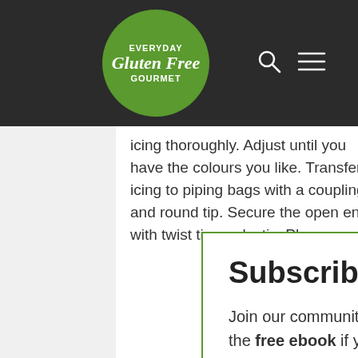[Figure (logo): Everyday Gluten Free Gourmet circular green logo with white text]
icing thoroughly. Adjust until you have the colours you like. Transfer icing to piping bags with a coupling and round tip. Secure the open end with twist tie or elastic. Place each decorating bag in a clear glass with...
OUT
1. ...
FLO
1. ...
Subscribe
Join our community and see what's cookin' in my kitchen each week. Download the free ebook if you need some ideas for more everyday cooking at home.